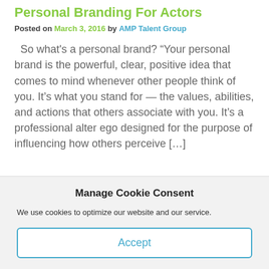Personal Branding For Actors
Posted on March 3, 2016 by AMP Talent Group
So what's a personal brand? “Your personal brand is the powerful, clear, positive idea that comes to mind whenever other people think of you. It’s what you stand for — the values, abilities, and actions that others associate with you. It’s a professional alter ego designed for the purpose of influencing how others perceive […]
Manage Cookie Consent
We use cookies to optimize our website and our service.
Accept